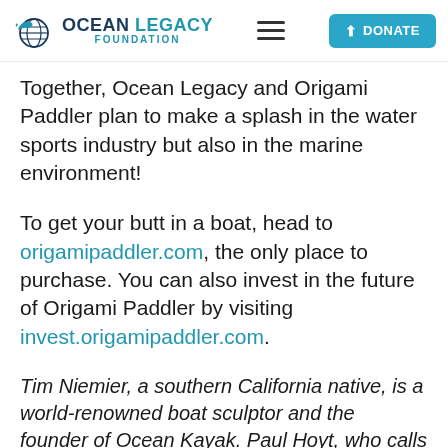Ocean Legacy Foundation — DONATE
Together, Ocean Legacy and Origami Paddler plan to make a splash in the water sports industry but also in the marine environment!
To get your butt in a boat, head to origamipaddler.com, the only place to purchase. You can also invest in the future of Origami Paddler by visiting invest.origamipaddler.com.
Tim Niemier, a southern California native, is a world-renowned boat sculptor and the founder of Ocean Kayak. Paul Hoyt, who calls northern